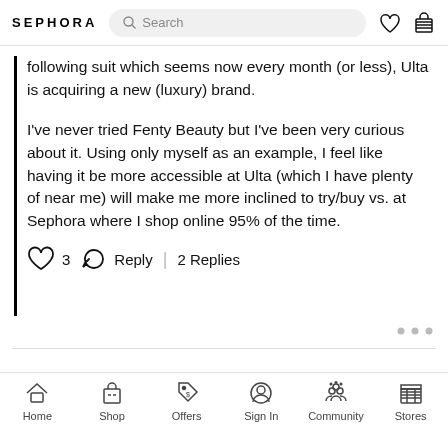SEPHORA [Search bar] [Heart icon] [Basket icon]
following suit which seems now every month (or less), Ulta is acquiring a new (luxury) brand.

I've never tried Fenty Beauty but I've been very curious about it. Using only myself as an example, I feel like having it be more accessible at Ulta (which I have plenty of near me) will make me more inclined to try/buy vs. at Sephora where I shop online 95% of the time.
❤ 3  Reply | 2 Replies
Home  Shop  Offers  Sign In  Community  Stores